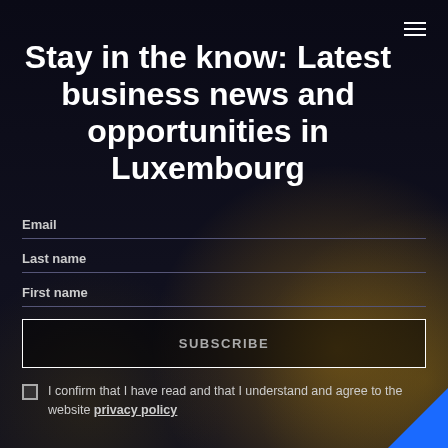Stay in the know: Latest business news and opportunities in Luxembourg
Email
Last name
First name
SUBSCRIBE
I confirm that I have read and that I understand and agree to the website privacy policy